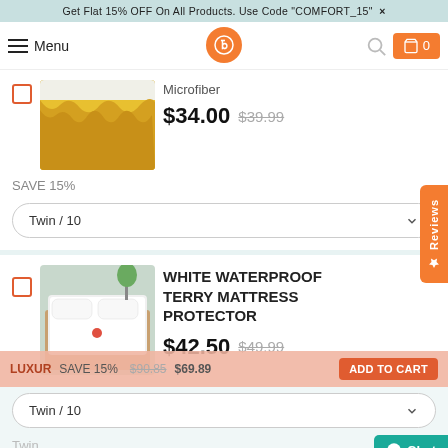Get Flat 15% OFF On All Products. Use Code "COMFORT_15" ×
Menu
[Figure (screenshot): Navigation bar with hamburger menu, logo, search icon, and cart button showing 0 items]
Microfiber
$34.00  $39.99
SAVE 15%
Twin / 10
WHITE WATERPROOF TERRY MATTRESS PROTECTOR
$42.50  $49.99
SAVE 15%
$90.85  $69.89
ADD TO CART
Twin / 10
Twin